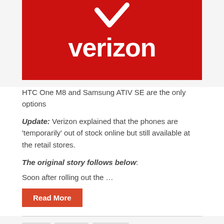[Figure (logo): Verizon logo on red background with white checkmark and white wordmark 'verizon']
HTC One M8 and Samsung ATIV SE are the only options
Update: Verizon explained that the phones are 'temporarily' out of stock online but still available at the retail stores.
The original story follows below:
Soon after rolling out the …
Read More
Nokia   Phones   Platform
Voice activation of Cortana demonstrated on video